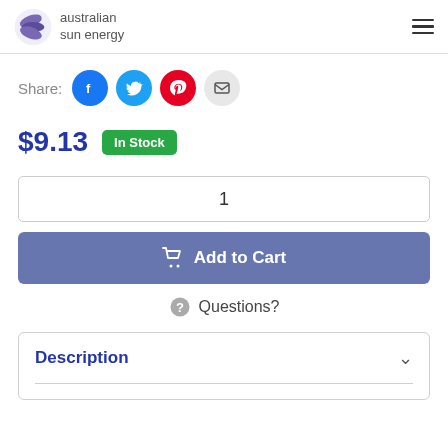australian sun energy
Share:
$9.13  In Stock
1
Add to Cart
Questions?
Description